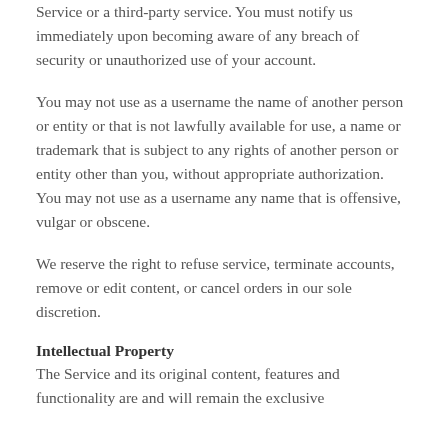Service or a third-party service. You must notify us immediately upon becoming aware of any breach of security or unauthorized use of your account.
You may not use as a username the name of another person or entity or that is not lawfully available for use, a name or trademark that is subject to any rights of another person or entity other than you, without appropriate authorization. You may not use as a username any name that is offensive, vulgar or obscene.
We reserve the right to refuse service, terminate accounts, remove or edit content, or cancel orders in our sole discretion.
Intellectual Property
The Service and its original content, features and functionality are and will remain the exclusive